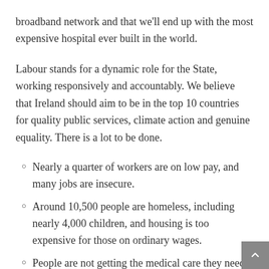broadband network and that we'll end up with the most expensive hospital ever built in the world.
Labour stands for a dynamic role for the State, working responsively and accountably. We believe that Ireland should aim to be in the top 10 countries for quality public services, climate action and genuine equality. There is a lot to be done.
Nearly a quarter of workers are on low pay, and many jobs are insecure.
Around 10,500 people are homeless, including nearly 4,000 children, and housing is too expensive for those on ordinary wages.
People are not getting the medical care they need